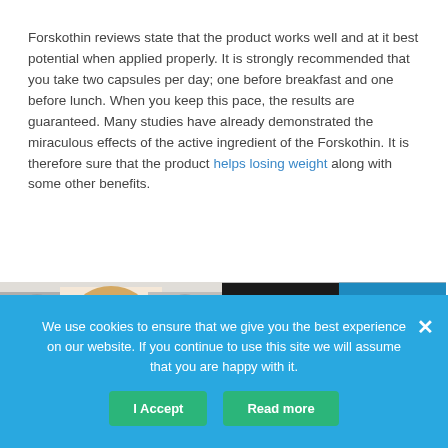Forskothin reviews state that the product works well and at it best potential when applied properly. It is strongly recommended that you take two capsules per day; one before breakfast and one before lunch. When you keep this pace, the results are guaranteed. Many studies have already demonstrated the miraculous effects of the active ingredient of the Forskothin. It is therefore sure that the product helps losing weight along with some other benefits.
[Figure (photo): Woman smiling in color in the center, flanked by grayscale images of women on either side, suggesting a before/after or transformation concept.]
[Figure (photo): Forskothin product advertisement showing three white supplement bottles with blue caps and the FORSKO THIN logo on a black and blue banner.]
We use cookies to ensure that we give you the best experience on our website. If you continue to use this site we will assume that you are happy with it.